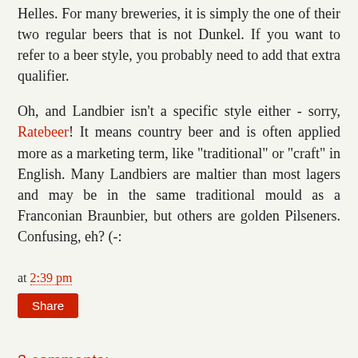Helles. For many breweries, it is simply the one of their two regular beers that is not Dunkel. If you want to refer to a beer style, you probably need to add that extra qualifier.
Oh, and Landbier isn't a specific style either - sorry, Ratebeer! It means country beer and is often applied more as a marketing term, like "traditional" or "craft" in English. Many Landbiers are maltier than most lagers and may be in the same traditional mould as a Franconian Braunbier, but others are golden Pilseners. Confusing, eh? (-:
at 2:39 pm
Share
3 comments:
Paul Bailey 10 August 2013 at 15:11
I've enjoyed reading your postings about Bamberg. We